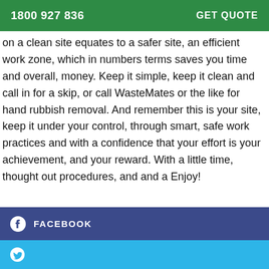1800 927 836   GET QUOTE
on a clean site equates to a safer site, an efficient work zone, which in numbers terms saves you time and overall, money. Keep it simple, keep it clean and call in for a skip, or call WasteMates or the like for hand rubbish removal. And remember this is your site, keep it under your control, through smart, safe work practices and with a confidence that your effort is your achievement, and your reward. With a little time, thought out procedures, and and a Enjoy!
FACEBOOK
TWITTER